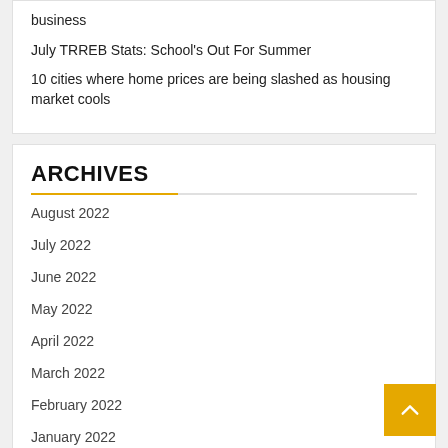business
July TRREB Stats: School's Out For Summer
10 cities where home prices are being slashed as housing market cools
ARCHIVES
August 2022
July 2022
June 2022
May 2022
April 2022
March 2022
February 2022
January 2022